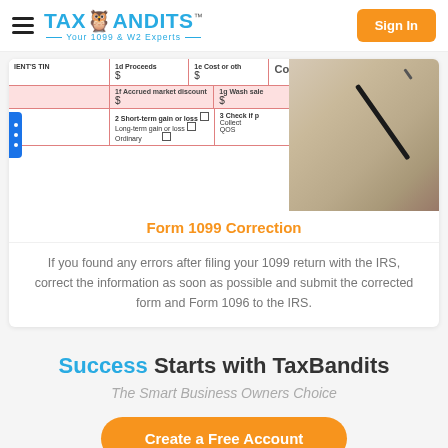TaxBandits — Your 1099 & W2 Experts | Sign In
[Figure (photo): Tax form 1099-B showing fields: IENT'S TIN, 1d Proceeds ($), 1e Cost or other ($), Copy A, 1f Accrued market discount ($), 1g Wash sale ($), 2 Short-term gain or loss, Long-term gain or loss, Ordinary, 3 Check if Collectibles, QOF. A hand holding a pen is visible on the right side of the image.]
Form 1099 Correction
If you found any errors after filing your 1099 return with the IRS, correct the information as soon as possible and submit the corrected form and Form 1096 to the IRS.
Success Starts with TaxBandits
The Smart Business Owners Choice
Create a Free Account